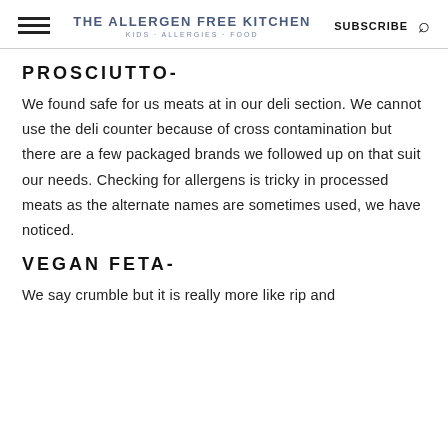THE ALLERGEN FREE KITCHEN | Kids Allergies Food | SUBSCRIBE
PROSCIUTTO-
We found safe for us meats at in our deli section. We cannot use the deli counter because of cross contamination but there are a few packaged brands we followed up on that suit our needs. Checking for allergens is tricky in processed meats as the alternate names are sometimes used, we have noticed.
VEGAN FETA-
We say crumble but it is really more like rip and